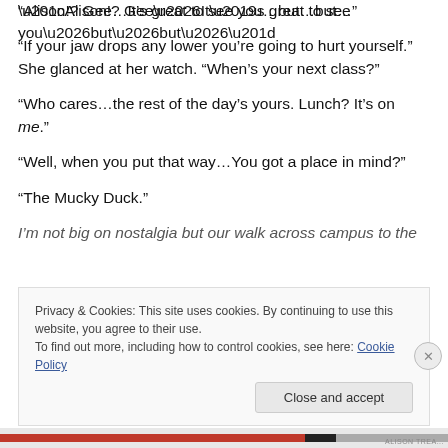“Alison!? Gee…It’s great to see you…but…but…”
“If your jaw drops any lower you’re going to hurt yourself.” She glanced at her watch. “When’s your next class?”
“Who cares…the rest of the day’s yours. Lunch? It’s on me.”
“Well, when you put that way…You got a place in mind?”
“The Mucky Duck.”
I’m not big on nostalgia but our walk across campus to the
Privacy & Cookies: This site uses cookies. By continuing to use this website, you agree to their use.
To find out more, including how to control cookies, see here: Cookie Policy
Close and accept